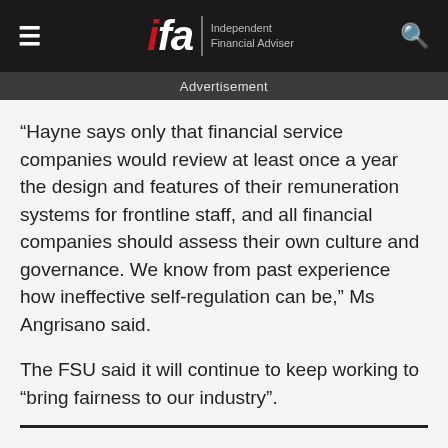ifa Independent Financial Adviser
Advertisement
“Hayne says only that financial service companies would review at least once a year the design and features of their remuneration systems for frontline staff, and all financial companies should assess their own culture and governance. We know from past experience how ineffective self-regulation can be,” Ms Angrisano said.
The FSU said it will continue to keep working to “bring fairness to our industry”.
“The work FSU members have done in the royal commission, building our vision of what a fair finance